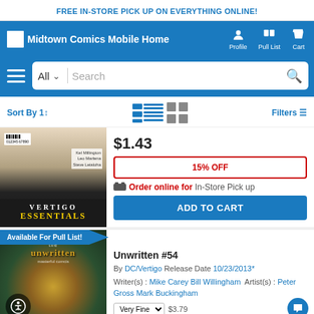FREE IN-STORE PICK UP ON EVERYTHING ONLINE!
[Figure (screenshot): Midtown Comics Mobile website header with logo, Profile, Pull List, and Cart navigation icons on blue background]
[Figure (screenshot): Search bar with hamburger menu, All category dropdown, search input, and search icon]
Sort By 1↑   Filters
[Figure (photo): Vertigo Essentials comic book cover]
$1.43
15% OFF
Order online for In-Store Pick up
ADD TO CART
Available For Pull List!
[Figure (photo): The Unwritten #54 comic book cover]
Unwritten #54
By DC/Vertigo Release Date 10/23/2013*
Writer(s) : Mike Carey Bill Willingham   Artist(s) : Peter Gross Mark Buckingham
Very Fine $3.79